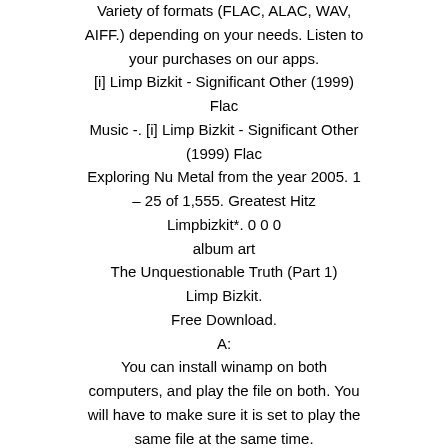Variety of formats (FLAC, ALAC, WAV, AIFF.) depending on your needs. Listen to your purchases on our apps.
[i] Limp Bizkit - Significant Other (1999) Flac
Music -. [i] Limp Bizkit - Significant Other (1999) Flac
Exploring Nu Metal from the year 2005. 1 – 25 of 1,555. Greatest Hitz Limpbizkit*. 0 0 0
album art
The Unquestionable Truth (Part 1)
Limp Bizkit.
Free Download.
A:
You can install winamp on both computers, and play the file on both. You will have to make sure it is set to play the same file at the same time.